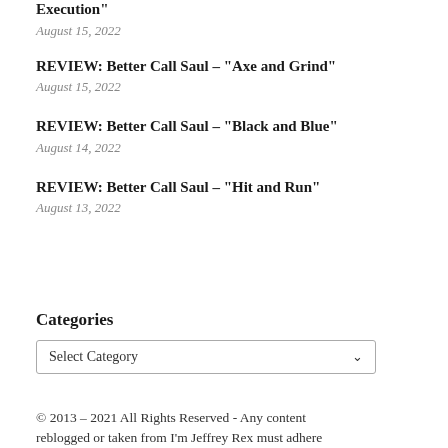Execution"
August 15, 2022
REVIEW: Better Call Saul – "Axe and Grind"
August 15, 2022
REVIEW: Better Call Saul – "Black and Blue"
August 14, 2022
REVIEW: Better Call Saul – "Hit and Run"
August 13, 2022
Categories
Select Category
© 2013 – 2021 All Rights Reserved - Any content reblogged or taken from I'm Jeffrey Rex must adhere